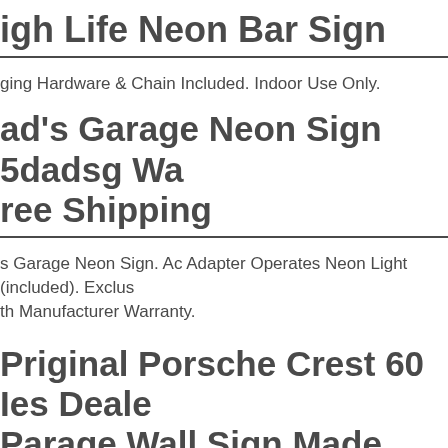igh Life Neon Bar Sign
ging Hardware & Chain Included. Indoor Use Only.
ad's Garage Neon Sign 5dadsg Wa ree Shipping
s Garage Neon Sign. Ac Adapter Operates Neon Light (included). Exclus th Manufacturer Warranty.
Priginal Porsche Crest 60 Ies Deale Parage Wall Sign Made From Metal Pnamel New